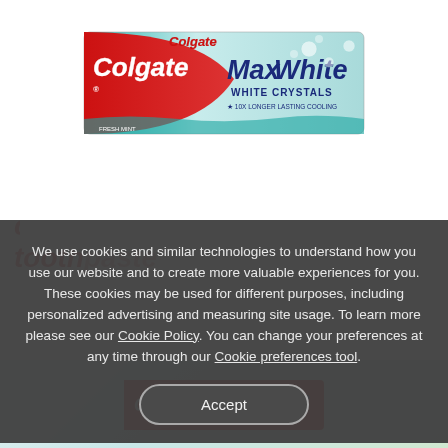[Figure (photo): Colgate MaxWhite White Crystals toothpaste box product photo, showing the toothpaste box with red and teal/silver design, Colgate logo in red italic script, MaxWhite in dark blue italic text, WHITE CRYSTALS subtitle]
colgate max white crystals toothpaste
We use cookies and similar technologies to understand how you use our website and to create more valuable experiences for you. These cookies may be used for different purposes, including personalized advertising and measuring site usage. To learn more please see our Cookie Policy. You can change your preferences at any time through our Cookie preferences tool.
[Figure (photo): Partially visible Colgate toothpaste product card at bottom of page behind cookie overlay]